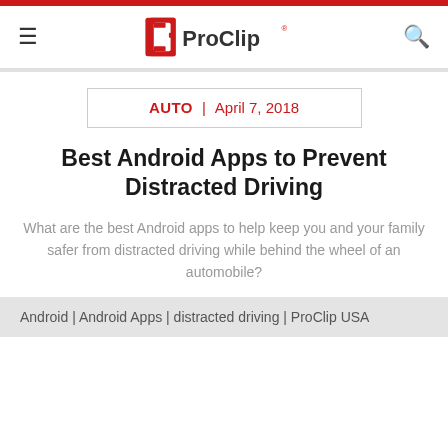ProClip
AUTO | April 7, 2018
Best Android Apps to Prevent Distracted Driving
What are the best Android apps to help keep you and your family safer from distracted driving while behind the wheel of an automobile?
Android | Android Apps | distracted driving | ProClip USA